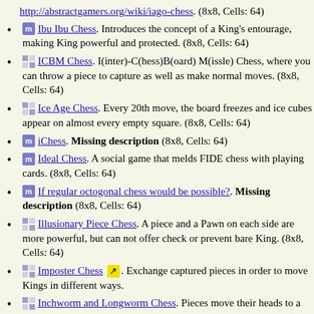http://abstractgamers.org/wiki/iago-chess. (8x8, Cells: 64)
Ibu Ibu Chess. Introduces the concept of a King's entourage, making King powerful and protected. (8x8, Cells: 64)
ICBM Chess. I(inter)-C(hess)B(oard) M(issle) Chess, where you can throw a piece to capture as well as make normal moves. (8x8, Cells: 64)
Ice Age Chess. Every 20th move, the board freezes and ice cubes appear on almost every empty square. (8x8, Cells: 64)
iChess. Missing description (8x8, Cells: 64)
Ideal Chess. A social game that melds FIDE chess with playing cards. (8x8, Cells: 64)
If regular octogonal chess would be possible?. Missing description (8x8, Cells: 64)
Illusionary Piece Chess. A piece and a Pawn on each side are more powerful, but can not offer check or prevent bare King. (8x8, Cells: 64)
Imposter Chess. Exchange captured pieces in order to move Kings in different ways.
Inchworm and Longworm Chess. Pieces move their heads to a new square, then move their tail to that square on a later move. (8x8, Cells: 64)